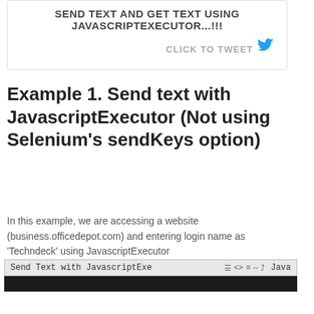SEND TEXT AND GET TEXT USING JAVASCRIPTEXECUTOR...!!!
CLICK TO TWEET
Example 1. Send text with JavascriptExecutor (Not using Selenium’s sendKeys option)
In this example, we are accessing a website (business.officedepot.com) and entering login name as ‘Techndeck’ using JavascriptExecutor
[Figure (screenshot): Screenshot of a browser toolbar showing 'Send Text with JavascriptExecutor' tab with browser navigation icons and Java label, followed by a black content area.]